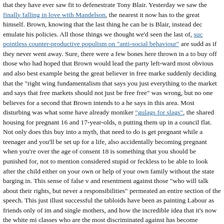that they have ever saw fit to defenestrate Tony Blair. Yesterday we saw the Labour party finally falling in love with Mandelson, the nearest it now has to the great man himself. Brown, knowing that the last thing he can be is Blair, instead decided to emulate his policies. All those things we thought we'd seen the last of, such as pointless counter-productive populism on "anti-social behaviour" are suddenly back, as if they never went away. Sure, there were a few bones here thrown in an attempt to buy off those who had hoped that Brown would lead the party left-wards, the most obvious and also best example being the great believer in free markets suddenly deciding that the "right wing fundamentalism that says you just leave everything to the market and says that free markets should not just be free to be free" was wrong, but no one believes for a second that Brown intends to act on what he says in this area. Most disturbing was what some have already monickered "gulags for slags", the shared housing for pregnant 16 and 17-year-olds, rather than putting them up in a council flat. Not only does this buy into a myth, that all you need to do is get pregnant while a teenager and you'll be set up for a life, but it's also accidentally becoming pregnant when you're over the age of consent but under 18 is something that you should be punished for, not to mention considered too stupid or feckless to be able to look after the child either on your own or with the help of your own family without the state barging in. This sense of false victimhood and resentment against those "who will talk about their rights, but never about their responsibilities" permeated an entire section of the speech. This just illustrates how successful the tabloids have been as painting Labour as friends only of immigrants and single mothers, and how the incredible idea that it's now the white middle classes who are the most discriminated against has become mainstream.
If the idea of "gulags for slags" is chilling, in much the same way was Brown's declaration that "whenever and wherever there is antisocial behaviour...